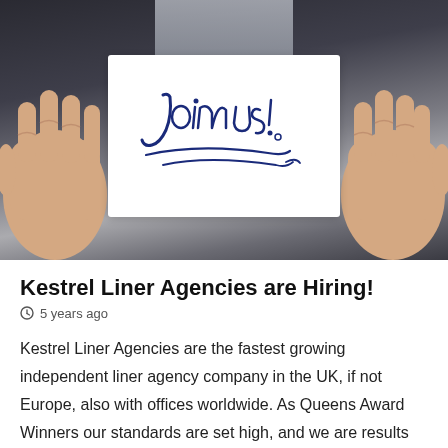[Figure (photo): Person in a dark suit holding a white card with 'Join us!' written in cursive blue handwriting]
Kestrel Liner Agencies are Hiring!
⊙ 5 years ago
Kestrel Liner Agencies are the fastest growing independent liner agency company in the UK, if not Europe, also with offices worldwide. As Queens Award Winners our standards are set high, and we are results driven, but in return we offer excellent career opportunities